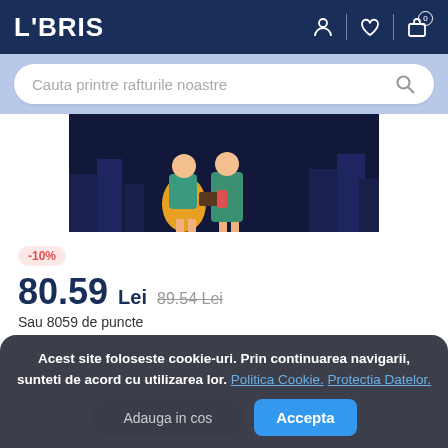LIBRIS
Cauta printre rafturile noastre
[Figure (illustration): Illustration of two female figures in colorful dresses against a dark city night background, partially cropped.]
-10%
80.59 Lei  89.54 Lei
Sau 8059 de puncte
Livrare in 2-4 saptamani
Acest site foloseste cookie-uri. Prin continuarea navigarii, sunteti de acord cu utilizarea lor. Politica Cookie. Protectia Datelor.
Adauga in cos
Accepta